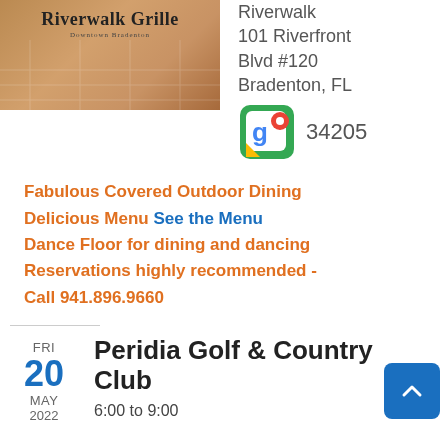[Figure (photo): Riverwalk Grille restaurant logo/photo with brown toned interior background]
Riverwalk
101 Riverfront
Blvd #120
Bradenton, FL
34205
[Figure (logo): Google Maps icon with red location pin]
Fabulous Covered Outdoor Dining
Delicious Menu See the Menu
Dance Floor for dining and dancing
Reservations highly recommended - Call 941.896.9660
FRI
20
MAY
2022
Peridia Golf & Country Club
6:00 to 9:00